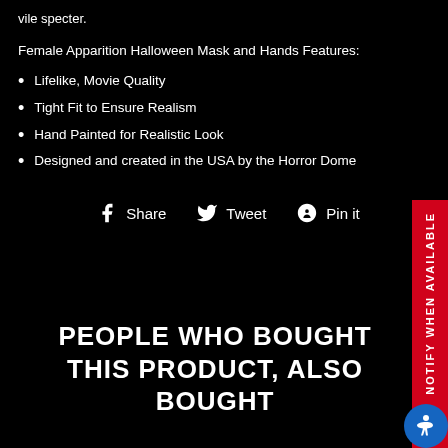vile specter.
Female Apparition Halloween Mask and Hands Features:
Lifelike, Movie Quality
Tight Fit to Ensure Realism
Hand Painted for Realistic Look
Designed and created in the USA by the Horror Dome
Share  Tweet  Pin it
PEOPLE WHO BOUGHT THIS PRODUCT, ALSO BOUGHT
NOTIFY WHEN AVAILABLE